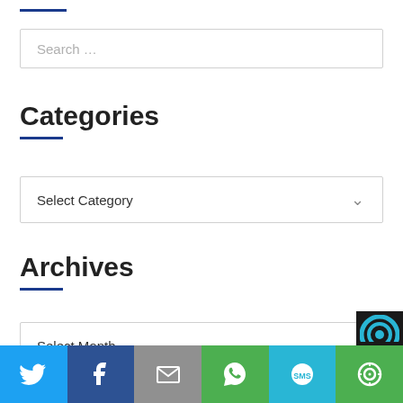[Figure (other): Blue horizontal line decorative element at top left]
[Figure (other): Search input box with placeholder text 'Search ...']
Categories
[Figure (other): Select Category dropdown box with chevron arrow]
Archives
[Figure (other): Select Month dropdown box with chevron arrow]
[Figure (other): Social sharing bar with Twitter, Facebook, Email, WhatsApp, SMS, and other icons]